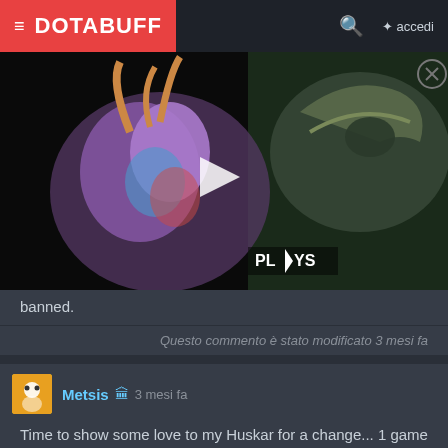DOTABUFF   accedi
[Figure (screenshot): Ad banner showing game characters from PLAYS with a play button overlay]
banned.
Questo commento è stato modificato 3 mesi fa
Metsis 🏛 3 mesi fa
Time to show some love to my Huskar for a change... 1 game 0% winrate... Didn't get a single game in the previous TI. Why you nerfing my man constantly???
MVP.FTX.이이 ★ 🏛 3 mesi fa
buff cm pls